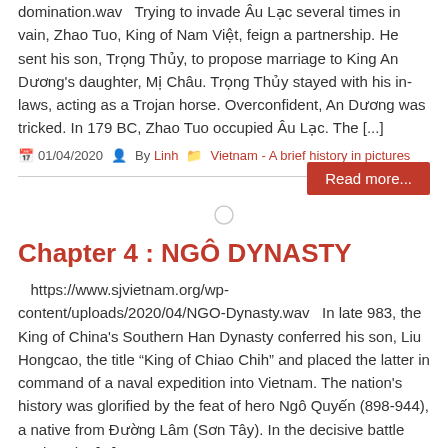domination.wav   Trying to invade Âu Lạc several times in vain, Zhao Tuo, King of Nam Việt, feign a partnership. He sent his son, Trọng Thủy, to propose marriage to King An Dương's daughter, Mị Châu. Trọng Thủy stayed with his in-laws, acting as a Trojan horse. Overconfident, An Dương was tricked. In 179 BC, Zhao Tuo occupied Âu Lạc. The [...]
01/04/2020   By Linh   Vietnam - A brief history in pictures
Read more...
Chapter 4 : NGÔ DYNASTY
https://www.sjvietnam.org/wp-content/uploads/2020/04/NGO-Dynasty.wav   In late 983, the King of China's Southern Han Dynasty conferred his son, Liu Hongcao, the title "King of Chiao Chih" and placed the latter in command of a naval expedition into Vietnam. The nation's history was glorified by the feat of hero Ngô Quyến (898-944), a native from Đường Lâm (Sơn Tây). In the decisive battle against the [...]